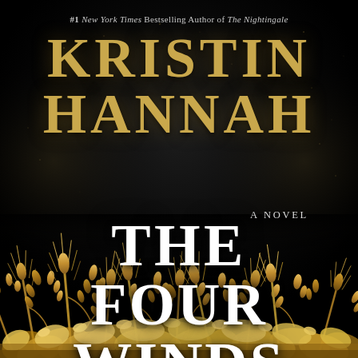#1 New York Times Bestselling Author of The Nightingale
KRISTIN HANNAH
A NOVEL
THE FOUR WINDS
[Figure (illustration): Golden wheat stalks arranged across the bottom portion of the book cover against a dark black background]